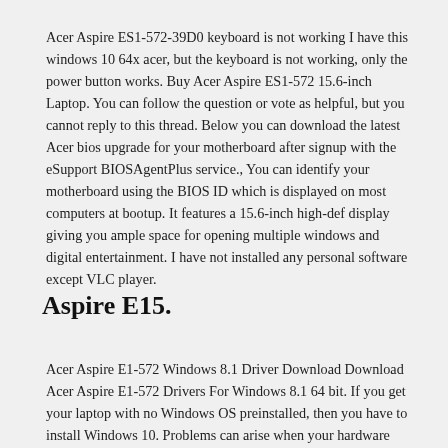Acer Aspire ES1-572-39D0 keyboard is not working I have this windows 10 64x acer, but the keyboard is not working, only the power button works. Buy Acer Aspire ES1-572 15.6-inch Laptop. You can follow the question or vote as helpful, but you cannot reply to this thread. Below you can download the latest Acer bios upgrade for your motherboard after signup with the eSupport BIOSAgentPlus service., You can identify your motherboard using the BIOS ID which is displayed on most computers at bootup. It features a 15.6-inch high-def display giving you ample space for opening multiple windows and digital entertainment. I have not installed any personal software except VLC player.
Aspire E15.
Acer Aspire E1-572 Windows 8.1 Driver Download Download Acer Aspire E1-572 Drivers For Windows 8.1 64 bit. If you get your laptop with no Windows OS preinstalled, then you have to install Windows 10. Problems can arise when your hardware device is too old or not supported any longer. However, as long as...